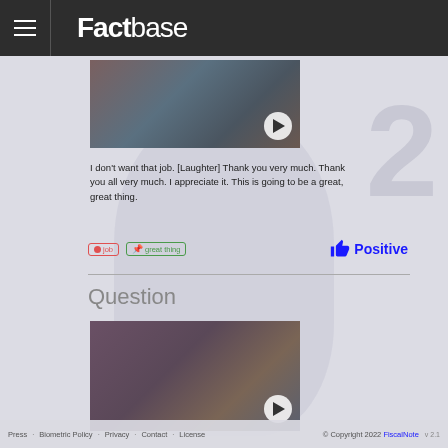Factbase
[Figure (photo): Video thumbnail showing people shaking hands, with a play button overlay]
I don't want that job. [Laughter] Thank you very much. Thank you all very much. I appreciate it. This is going to be a great, great thing.
job   great thing   Positive
Question
[Figure (photo): Video thumbnail showing a person speaking at a table with others around, with a play button overlay]
© Copyright 2022 FiscalNote   Press   Biometric Policy   Privacy   Contact   License   v 2.1